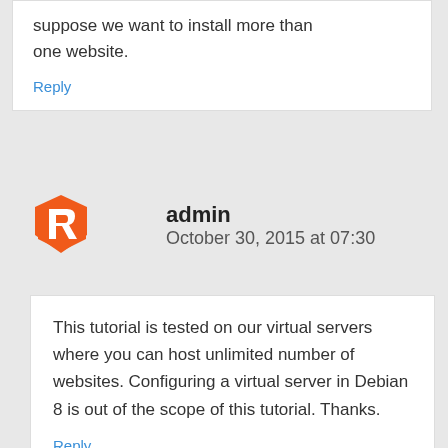suppose we want to install more than one website.
Reply
[Figure (logo): Orange R logo / admin avatar]
admin
October 30, 2015 at 07:30
This tutorial is tested on our virtual servers where you can host unlimited number of websites. Configuring a virtual server in Debian 8 is out of the scope of this tutorial. Thanks.
Reply